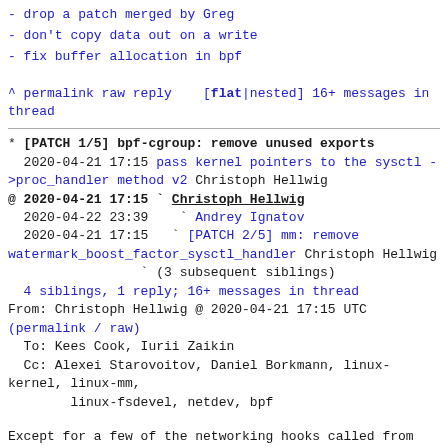- drop a patch merged by Greg
- don't copy data out on a write
- fix buffer allocation in bpf
^ permalink raw reply    [flat|nested] 16+ messages in thread
* [PATCH 1/5] bpf-cgroup: remove unused exports
  2020-04-21 17:15 pass kernel pointers to the sysctl ->proc_handler method v2 Christoph Hellwig
@ 2020-04-21 17:15 ` Christoph Hellwig
  2020-04-22 23:39   ` Andrey Ignatov
  2020-04-21 17:15 ` [PATCH 2/5] mm: remove watermark_boost_factor_sysctl_handler Christoph Hellwig
              ` (3 subsequent siblings)
  4 siblings, 1 reply; 16+ messages in thread
From: Christoph Hellwig @ 2020-04-21 17:15 UTC
(permalink / raw)
  To: Kees Cook, Iurii Zaikin
  Cc: Alexei Starovoitov, Daniel Borkmann, linux-kernel, linux-mm,
        linux-fsdevel, netdev, bpf
Except for a few of the networking hooks called from modular ipv4 or
ipv6 code, all of hooks are just called from guaranteed to be built-in
code.